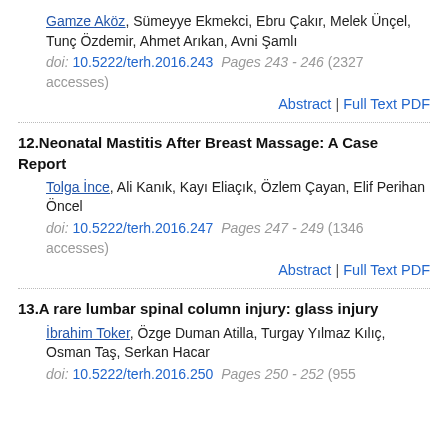Gamze Aköz, Sümeyye Ekmekci, Ebru Çakır, Melek Ünçel, Tunç Özdemir, Ahmet Arıkan, Avni Şamlı
doi: 10.5222/terh.2016.243  Pages 243 - 246 (2327 accesses)
Abstract | Full Text PDF
12. Neonatal Mastitis After Breast Massage: A Case Report
Tolga İnce, Ali Kanık, Kayı Eliaçık, Özlem Çayan, Elif Perihan Öncel
doi: 10.5222/terh.2016.247  Pages 247 - 249 (1346 accesses)
Abstract | Full Text PDF
13. A rare lumbar spinal column injury: glass injury
İbrahim Toker, Özge Duman Atilla, Turgay Yılmaz Kılıç, Osman Taş, Serkan Hacar
doi: 10.5222/terh.2016.250  Pages 250 - 252 (955